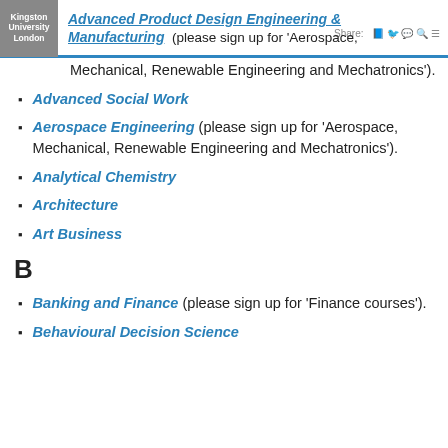Kingston University London | Advanced Product Design Engineering & Manufacturing
Advanced Product Design Engineering & Manufacturing (please sign up for 'Aerospace, Mechanical, Renewable Engineering and Mechatronics').
Advanced Social Work
Aerospace Engineering (please sign up for 'Aerospace, Mechanical, Renewable Engineering and Mechatronics').
Analytical Chemistry
Architecture
Art Business
B
Banking and Finance (please sign up for 'Finance courses').
Behavioural Decision Science